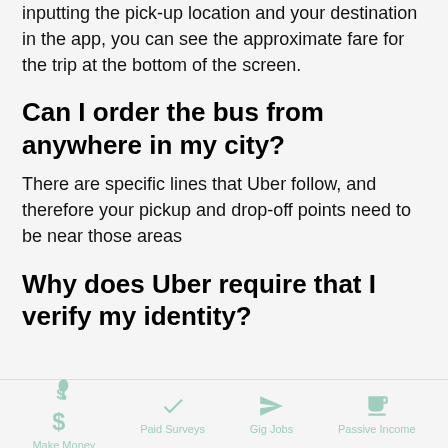inputting the pick-up location and your destination in the app, you can see the approximate fare for the trip at the bottom of the screen.
Can I order the bus from anywhere in my city?
There are specific lines that Uber follow, and therefore your pickup and drop-off points need to be near those areas
Why does Uber require that I verify my identity?
Make Money  Paid Surveys  Gig Jobs  Passive Income